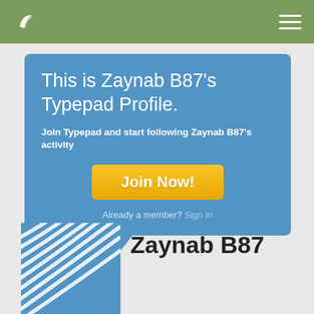[Figure (logo): Typepad logo in nav bar (white feather/leaf icon on olive green background)]
This is Zaynab B87's Typepad Profile.
Join Typepad and start following Zaynab B87's activity
Join Now!
Already a member? Sign In
[Figure (illustration): Typepad default avatar: blue square with white curved lines pattern]
Zaynab B87